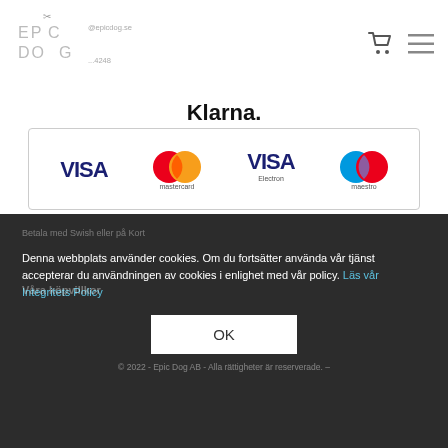Epic Dog | @epicdog.se | +46...4248
[Figure (logo): Epic Dog logo with scissors icon and payment methods: Klarna, VISA, Mastercard, VISA Electron, Maestro]
Klarna.
[Figure (logo): Swish payment logo]
Betala med Swish eller på Kort
Våra köpvillkor
Denna webbplats använder cookies. Om du fortsätter använda vår tjänst accepterar du användningen av cookies i enlighet med vår policy. Läs vår Integritets Policy
OK
© 2022 - Epic Dog AB - Alla rättigheter är reserverade. –